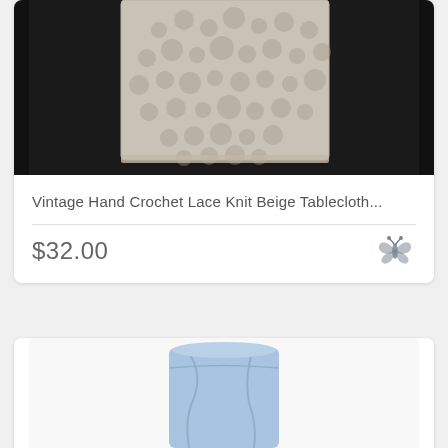[Figure (photo): Vintage hand crochet lace knit beige tablecloth on black background]
Vintage Hand Crochet Lace Knit Beige Tablecloth...
$32.00
[Figure (photo): Light blue fabric item, partially visible at bottom of page]